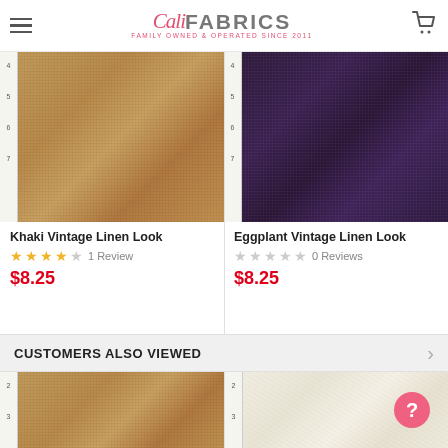Cali Fabrics — Family Owned & Operated Since 2011
[Figure (photo): Khaki Vintage Linen Look fabric swatch with ruler]
Khaki Vintage Linen Look
★★★★☆ 1 Review
$8.25
[Figure (photo): Eggplant Vintage Linen Look fabric swatch with ruler]
Eggplant Vintage Linen Look
☆☆☆☆☆ 0 Reviews
$8.25
CUSTOMERS ALSO VIEWED
[Figure (photo): Khaki fabric swatch bottom thumbnail]
[Figure (photo): Cream/natural linen fabric swatch bottom thumbnail with help button]